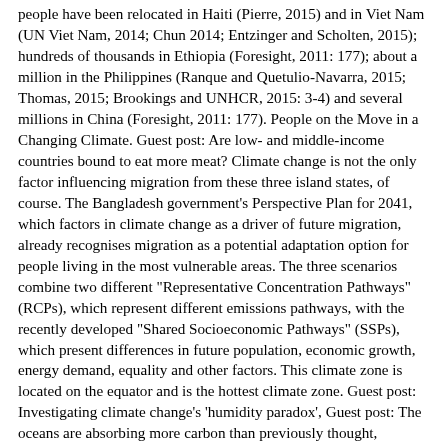people have been relocated in Haiti (Pierre, 2015) and in Viet Nam (UN Viet Nam, 2014; Chun 2014; Entzinger and Scholten, 2015); hundreds of thousands in Ethiopia (Foresight, 2011: 177); about a million in the Philippines (Ranque and Quetulio-Navarra, 2015; Thomas, 2015; Brookings and UNHCR, 2015: 3-4) and several millions in China (Foresight, 2011: 177). People on the Move in a Changing Climate. Guest post: Are low- and middle-income countries bound to eat more meat? Climate change is not the only factor influencing migration from these three island states, of course. The Bangladesh government's Perspective Plan for 2041, which factors in climate change as a driver of future migration, already recognises migration as a potential adaptation option for people living in the most vulnerable areas. The three scenarios combine two different "Representative Concentration Pathways" (RCPs), which represent different emissions pathways, with the recently developed "Shared Socioeconomic Pathways" (SSPs), which present differences in future population, economic growth, energy demand, equality and other factors. This climate zone is located on the equator and is the hottest climate zone. Guest post: Investigating climate change's 'humidity paradox', Guest post: The oceans are absorbing more carbon than previously thought, Mapped: How climate change disproportionately affects women's health, Emissions cuts in line with Paris Agreement would see benefits 'within two decades'. Compendium of IOM Activities on Disaster Risk Reduction and Resilience. While data gaps persist, some about the destinations connected.